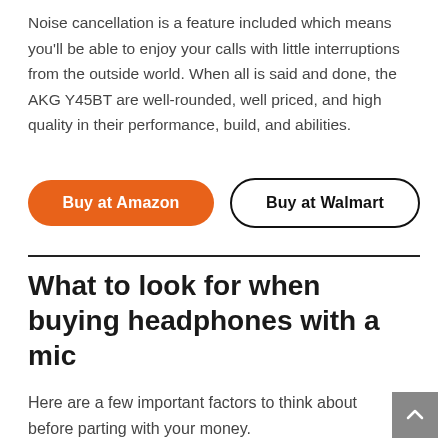Noise cancellation is a feature included which means you'll be able to enjoy your calls with little interruptions from the outside world. When all is said and done, the AKG Y45BT are well-rounded, well priced, and high quality in their performance, build, and abilities.
Buy at Amazon
Buy at Walmart
What to look for when buying headphones with a mic
Here are a few important factors to think about before parting with your money.